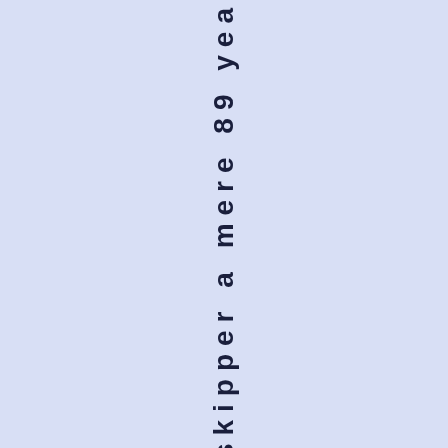- yEaton was the skipper a mere 89 yea